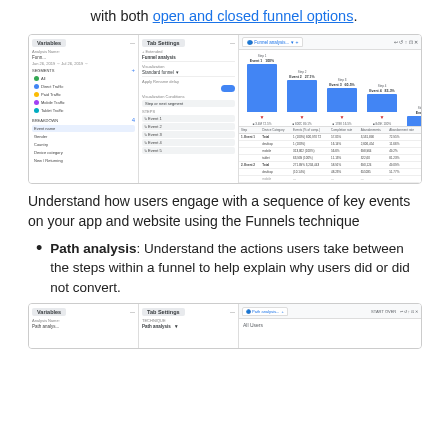with both open and closed funnel options.
[Figure (screenshot): Funnel analysis screenshot showing a funnel chart with blue bars for Events 1-5, step percentages, and a data table below with device category breakdown including desktop, mobile, tablet rows.]
Understand how users engage with a sequence of key events on your app and website using the Funnels technique
Path analysis: Understand the actions users take between the steps within a funnel to help explain why users did or did not convert.
[Figure (screenshot): Path analysis screenshot showing the bottom portion with variables panel, tab settings panel, and main area with All Users label.]